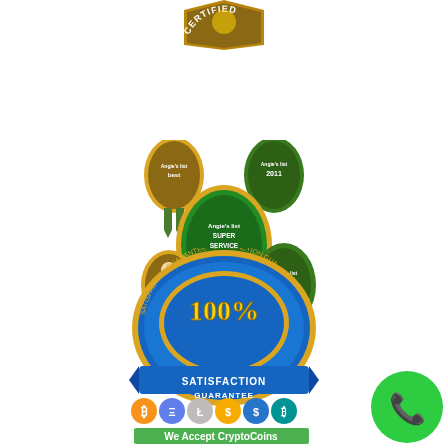[Figure (logo): Partial certified badge/seal at top center, gold and dark colors, showing 'CERTIFIED' text arc]
[Figure (logo): Multiple Angie's List Super Service Award badges/medallions arranged in a cluster - gold and green oval badges with ribbons]
[Figure (logo): 100% Satisfaction Guarantee badge - blue and gold oval seal with decorative ribbon and text]
[Figure (logo): We Accept CryptoCoins banner with cryptocurrency icons (Bitcoin, Ethereum, Litecoin, and others) above a green banner]
[Figure (logo): Green circular phone/call button in bottom right corner]